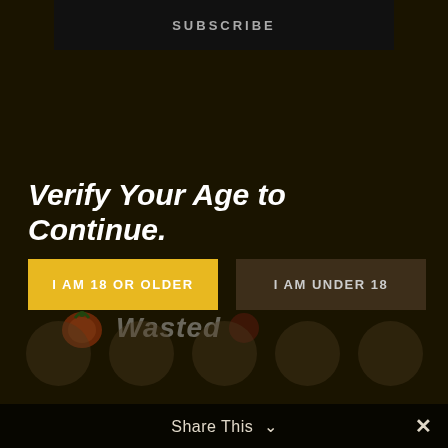SUBSCRIBE
Verify Your Age to Continue.
I AM 18 OR OLDER
I AM UNDER 18
[Figure (logo): Wasted logo with fruit icon]
Share This ∨
✕